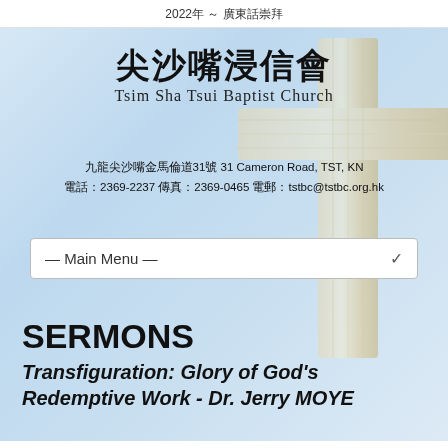2022年 ～ 廣東話崇拜
[Figure (illustration): Church website header with light blue sky background and wooden cross image on the right side]
尖沙嘴浸信會 Tsim Sha Tsui Baptist Church
九龍尖沙嘴金馬倫道31號 31 Cameron Road, TST, KN
電話：2369-2237 傳真：2369-0465 電郵：tstbc@tstbc.org.hk
— Main Menu —
SERMONS
Transfiguration: Glory of God's Redemptive Work - Dr. Jerry MOYE